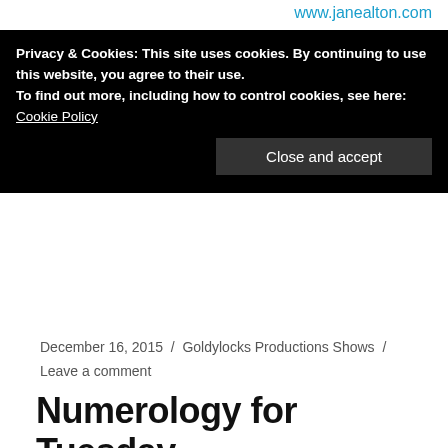www.janealton.com
Privacy & Cookies: This site uses cookies. By continuing to use this website, you agree to their use.
To find out more, including how to control cookies, see here:
Cookie Policy
Close and accept
December 16, 2015 / Goldylocks Productions Shows / Leave a comment
Numerology for Tuesday, 15 December 2015 by Jane Alton